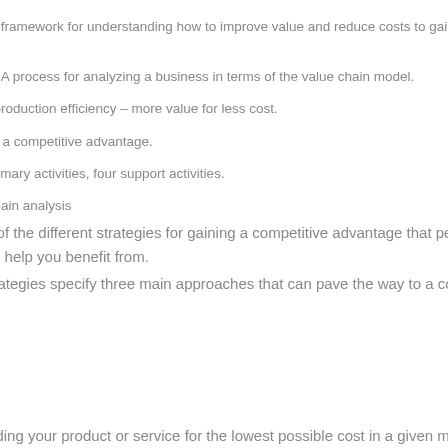Value chain model: A framework for understanding how to improve value and reduce costs to gain a competitive advantage. Value chain analysis: A process for analyzing a business in terms of the value chain model. Main goal: Increase production efficiency – more value for less cost. End goal: Creation of a competitive advantage. Components: Five primary activities, four support activities.
Benefits of a value chain analysis
Let's look at some of the different strategies for gaining a competitive advantage that performing a value chain analyzing will help you benefit from.
Porter's generic strategies specify three main approaches that can pave the way to a competitive advantage:
Cost leadership
Differentiation
Focus
Cost leadership
This involves providing your product or service for the lowest possible cost in a given market.
Competitive advantage is secured when